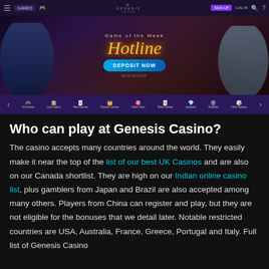[Figure (screenshot): Genesis Casino website screenshot showing navigation bar, 'Game of the Week: Hotline' hero banner with DEPOSIT NOW button, and category navigation bar with All Games, Live Casino, New Games, Popular Games, Video Slots, Table Games, Jackpots, Roulette, Other Games]
Who can play at Genesis Casino?
The casino accepts many countries around the world. They easily make it near the top of the list of our best UK Casinos and are also on our Canada shortlist. They are high on our Indian online casino list, plus gamblers from Japan and Brazil are also accepted among many others. Players from China can register and play, but they are not eligible for the bonuses that we detail later. Notable restricted countries are USA, Australia, France, Greece, Portugal and Italy. Full list of Genesis Casino